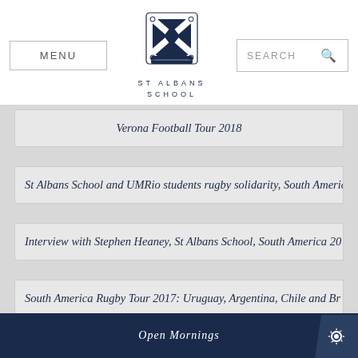[Figure (logo): St Albans School crest logo with Scottish saltire cross and decorative border]
MENU | ST ALBANS SCHOOL | SEARCH
Verona Football Tour 2018
St Albans School and UMRio students rugby solidarity, South Americ…
Interview with Stephen Heaney, St Albans School, South America 20…
South America Rugby Tour 2017: Uruguay, Argentina, Chile and Br…
Open Mornings